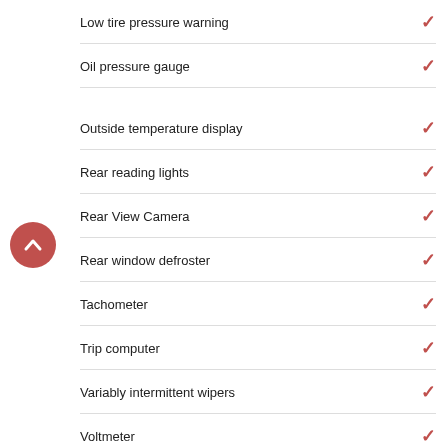Low tire pressure warning — ✓
Oil pressure gauge — ✓
Outside temperature display — ✓
Rear reading lights — ✓
Rear View Camera — ✓
Rear window defroster — ✓
Tachometer — ✓
Trip computer — ✓
Variably intermittent wipers — ✓
Voltmeter — ✓
Powertrain — Standard
Block heater — ✓
Mode select transmission — ✓
Variable valve control — ✓
Safety and Security — Standard